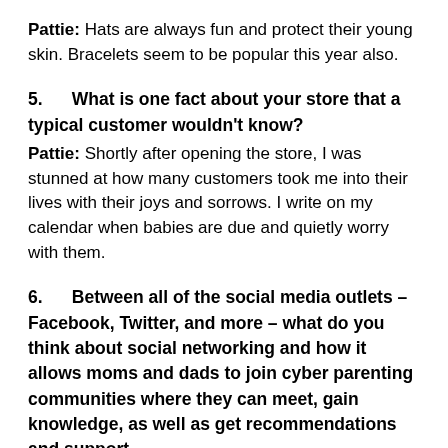Pattie: Hats are always fun and protect their young skin. Bracelets seem to be popular this year also.
5.      What is one fact about your store that a typical customer wouldn't know?
Pattie: Shortly after opening the store, I was stunned at how many customers took me into their lives with their joys and sorrows. I write on my calendar when babies are due and quietly worry with them.
6.      Between all of the social media outlets – Facebook, Twitter, and more – what do you think about social networking and how it allows moms and dads to join cyber parenting communities where they can meet, gain knowledge, as well as get recommendations and support.
Pattie: I am impressed with the new generation who